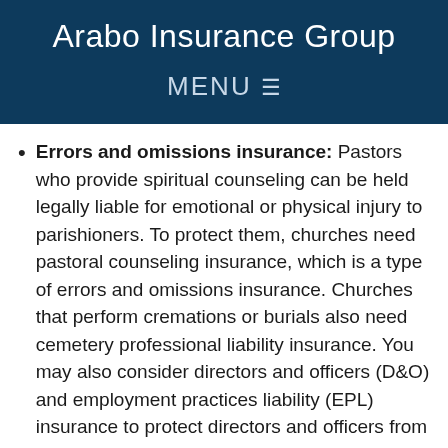Arabo Insurance Group
MENU ☰
Errors and omissions insurance: Pastors who provide spiritual counseling can be held legally liable for emotional or physical injury to parishioners. To protect them, churches need pastoral counseling insurance, which is a type of errors and omissions insurance. Churches that perform cremations or burials also need cemetery professional liability insurance. You may also consider directors and officers (D&O) and employment practices liability (EPL) insurance to protect directors and officers from